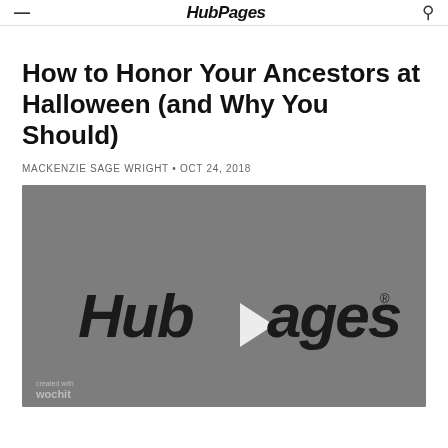HubPages
How to Honor Your Ancestors at Halloween (and Why You Should)
MACKENZIE SAGE WRIGHT • OCT 24, 2018
[Figure (screenshot): Video thumbnail showing HubPages logo with play button and 'Welcome to HubPages' text on a grey background, with wochit watermark at bottom left]